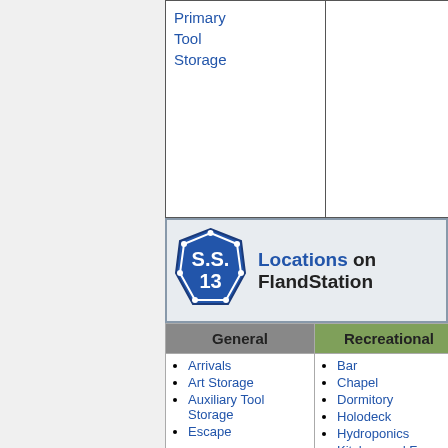|  |  |  |
| --- | --- | --- |
| • Primary Tool Storage |  |  |
[Figure (logo): SS.13 hexagonal badge logo in blue]
Locations on FlandStation
| General | Recreational | Medical |
| --- | --- | --- |
| • Arrivals • Art Storage • Auxiliary Tool Storage • Escape... | • Bar • Chapel • Dormitory • Holodeck • Hydroponics • Kitchen and ... | • Medbay • Chemistry Lab • Chief Medical Officer Office |